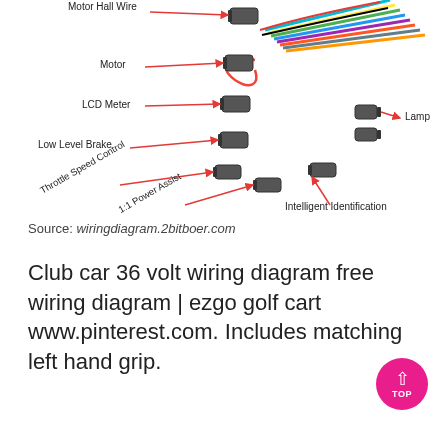[Figure (schematic): Electric bike controller wiring diagram showing labeled connectors: Motor Hall Wire, Motor, LCD Meter, Lamp, Low Level Brake, Throttle Speed Control, 1:1 Power Assist, Intelligent Identification. Multiple colored wires connect to a central harness with red arrow labels pointing to connector plugs.]
Source: wiringdiagram.2bitboer.com
Club car 36 volt wiring diagram free wiring diagram | ezgo golf cart www.pinterest.com. Includes matching left hand grip.